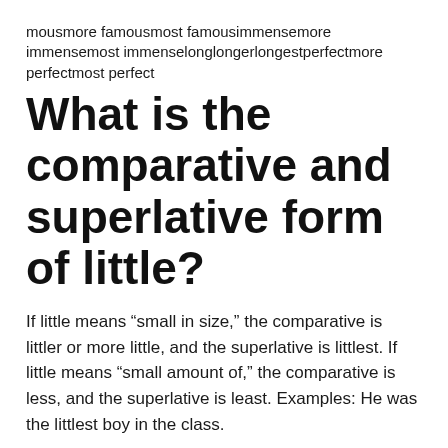mousmore famousmost famousimmensemore immensemost immenselonglongerlongestperfectmore perfectmost perfect
What is the comparative and superlative form of little?
If little means “small in size,” the comparative is littler or more little, and the superlative is littlest. If little means “small amount of,” the comparative is less, and the superlative is least. Examples: He was the littlest boy in the class.